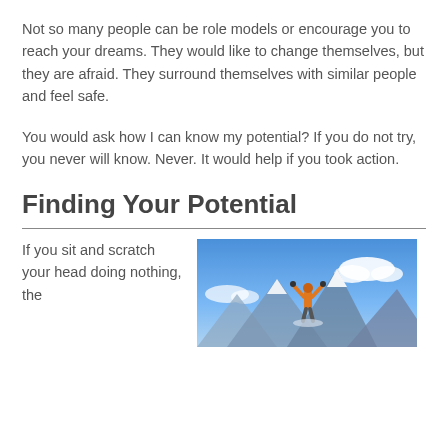Not so many people can be role models or encourage you to reach your dreams. They would like to change themselves, but they are afraid. They surround themselves with similar people and feel safe.
You would ask how I can know my potential? If you do not try, you never will know. Never. It would help if you took action.
Finding Your Potential
If you sit and scratch your head doing nothing, the
[Figure (photo): Person in orange jacket with arms raised in triumph on a snowy mountain summit against blue sky with clouds]